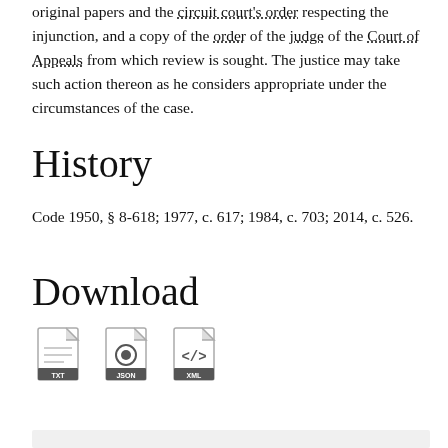original papers and the circuit court's order respecting the injunction, and a copy of the order of the judge of the Court of Appeals from which review is sought. The justice may take such action thereon as he considers appropriate under the circumstances of the case.
History
Code 1950, § 8-618; 1977, c. 617; 1984, c. 703; 2014, c. 526.
Download
[Figure (illustration): Three file download icons: TXT file, JSON file, and XML file]